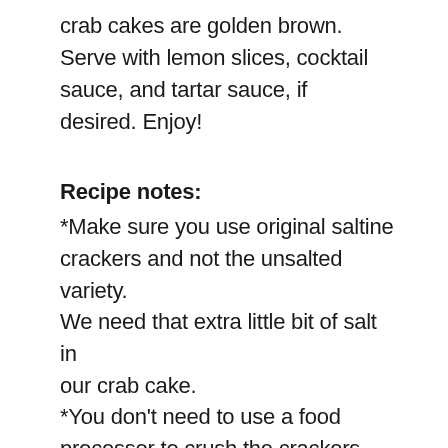crab cakes are golden brown. Serve with lemon slices, cocktail sauce, and tartar sauce, if desired. Enjoy!
Recipe notes:
*Make sure you use original saltine crackers and not the unsalted variety. We need that extra little bit of salt in our crab cake.
*You don't need to use a food processor to crush the crackers. They're soft enough that you can throw them in a baggie, let out the air, and crush them with your hands. We want to get them to a breadcrumb like texture if we can. A few little chunks of cracker are more than ok.